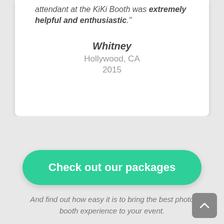attendant at the KiKi Booth was extremely helpful and enthusiastic."
Whitney
Hollywood, CA
2015
Check out our packages
And find out how easy it is to bring the best photo booth experience to your event.